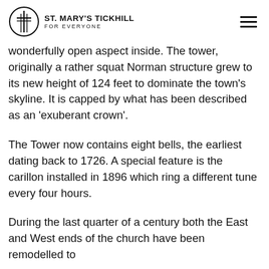ST. MARY'S TICKHILL FOR EVERYONE
wonderfully open aspect inside. The tower, originally a rather squat Norman structure grew to its new height of 124 feet to dominate the town's skyline. It is capped by what has been described as an 'exuberant crown'.
The Tower now contains eight bells, the earliest dating back to 1726. A special feature is the carillon installed in 1896 which ring a different tune every four hours.
During the last quarter of a century both the East and West ends of the church have been remodelled to